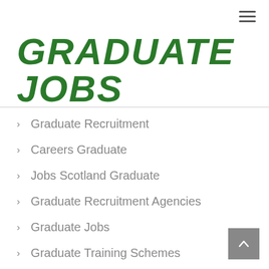GRADUATE JOBS
Graduate Recruitment
Careers Graduate
Jobs Scotland Graduate
Graduate Recruitment Agencies
Graduate Jobs
Graduate Training Schemes
Graduate Jobs London